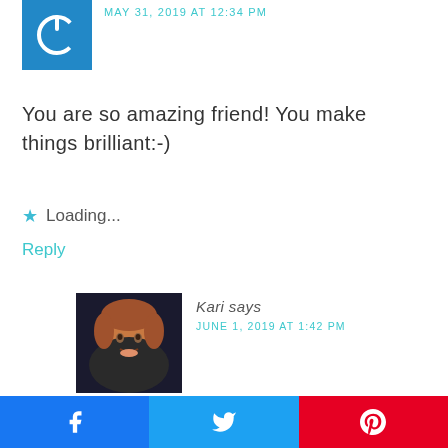[Figure (photo): Blue square icon with white power symbol]
MAY 31, 2019 AT 12:34 PM
You are so amazing friend! You make things brilliant:-)
Loading...
Reply
[Figure (photo): Photo of Kari, a woman with short reddish-brown hair, smiling]
Kari says
JUNE 1, 2019 AT 1:42 PM
[Figure (infographic): Social share buttons: Facebook (blue), Twitter (light blue), Pinterest (red)]